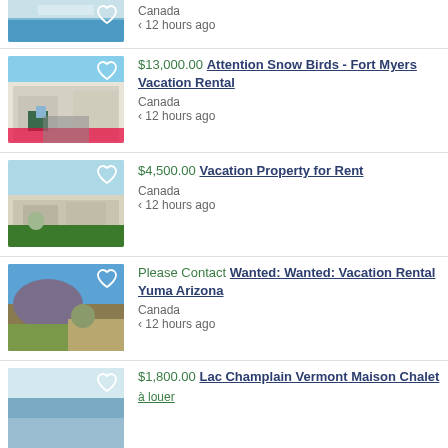[Figure (photo): Partial view of a vacation rental property with pool, cropped at top]
Canada
‹ 12 hours ago
[Figure (photo): House with two cars in driveway, Fort Myers vacation rental]
$13,000.00 Attention Snow Birds - Fort Myers Vacation Rental
Canada
‹ 12 hours ago
[Figure (photo): Single-story house with lawn, vacation property for rent]
$4,500.00 Vacation Property for Rent
Canada
‹ 12 hours ago
[Figure (photo): Desert landscape with mountain and blue sky, Yuma Arizona]
Please Contact Wanted: Wanted: Vacation Rental Yuma Arizona
Canada
‹ 12 hours ago
[Figure (photo): Lake view with water reflection, Lac Champlain Vermont]
$1,800.00 Lac Champlain Vermont Maison Chalet
à louer